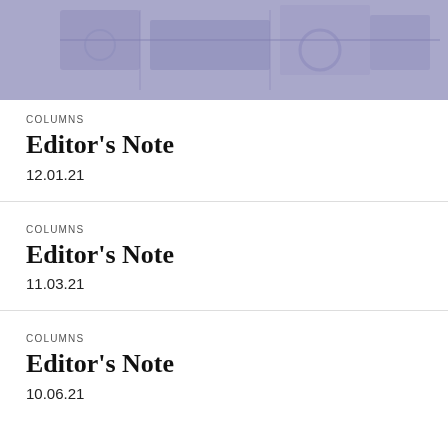[Figure (photo): Purple-tinted photograph of machinery or equipment]
COLUMNS
Editor's Note
12.01.21
COLUMNS
Editor's Note
11.03.21
COLUMNS
Editor's Note
10.06.21